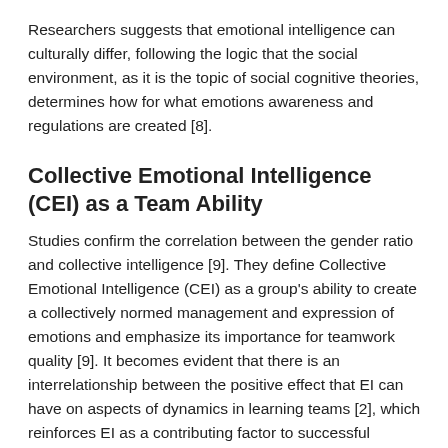Researchers suggests that emotional intelligence can culturally differ, following the logic that the social environment, as it is the topic of social cognitive theories, determines how for what emotions awareness and regulations are created [8].
Collective Emotional Intelligence (CEI) as a Team Ability
Studies confirm the correlation between the gender ratio and collective intelligence [9]. They define Collective Emotional Intelligence (CEI) as a group's ability to create a collectively normed management and expression of emotions and emphasize its importance for teamwork quality [9]. It becomes evident that there is an interrelationship between the positive effect that EI can have on aspects of dynamics in learning teams [2], which reinforces EI as a contributing factor to successful organizational behavior [10]. Individual EI without integration into the group context is not a guarantee for